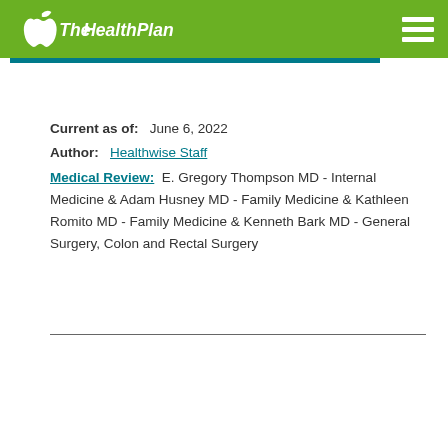The Health Plan
Current as of:   June 6, 2022
Author:   Healthwise Staff
Medical Review:  E. Gregory Thompson MD - Internal Medicine & Adam Husney MD - Family Medicine & Kathleen Romito MD - Family Medicine & Kenneth Bark MD - General Surgery, Colon and Rectal Surgery